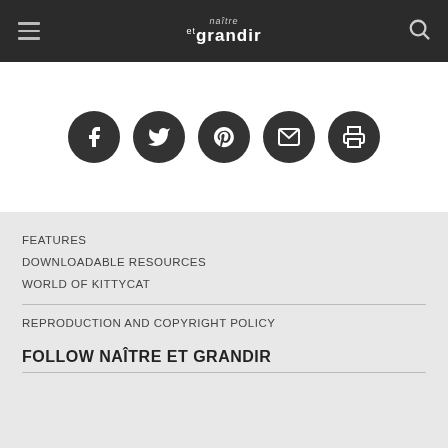naître et grandir
[Figure (other): Social sharing icons: Facebook, Twitter, Pinterest, Email, Print — dark circular buttons on white background]
FEATURES
DOWNLOADABLE RESOURCES
WORLD OF KITTYCAT
REPRODUCTION AND COPYRIGHT POLICY
FOLLOW NAÎTRE ET GRANDIR